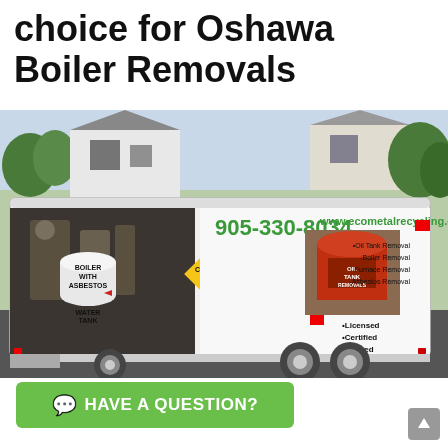choice for Oshawa Boiler Removals
[Figure (photo): An Eco Metal Recycling company trailer parked in a residential driveway. The trailer shows phone number 905-330-8034, website www.ecometalrecycling.com, lists services including Oil Tank Removal, Boiler Removal, Furnace Removal, Asbestos Removal, and credentials: Licensed, Certified, Insured. A boiler labeled 'Boiler with Asbestos' and 'Water Tank' are visible inside the open trailer. A caution sign is shown. A red oil tank image is on the trailer side.]
HAVE A QUESTION?